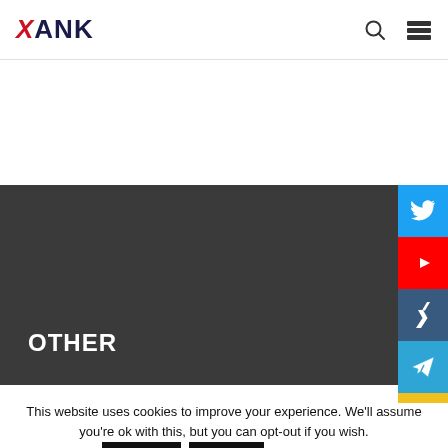XANK
[Figure (screenshot): Dark gray hero banner section with the label OTHER in white bold uppercase text at bottom left, and social media sidebar buttons on the right (Twitter, YouTube, Xing, Telegram, yellow bar)]
OTHER
This website uses cookies to improve your experience. We'll assume you're ok with this, but you can opt-out if you wish.
Accept   Reject   Read More